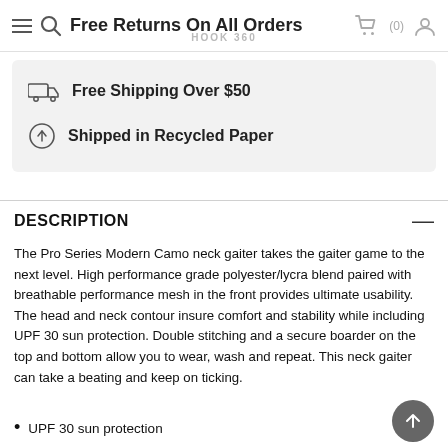Free Returns On All Orders | HOOK 360
Free Shipping Over $50
Shipped in Recycled Paper
DESCRIPTION
The Pro Series Modern Camo neck gaiter takes the gaiter game to the next level. High performance grade polyester/lycra blend paired with breathable performance mesh in the front provides ultimate usability. The head and neck contour insure comfort and stability while including UPF 30 sun protection. Double stitching and a secure boarder on the top and bottom allow you to wear, wash and repeat. This neck gaiter can take a beating and keep on ticking.
UPF 30 sun protection